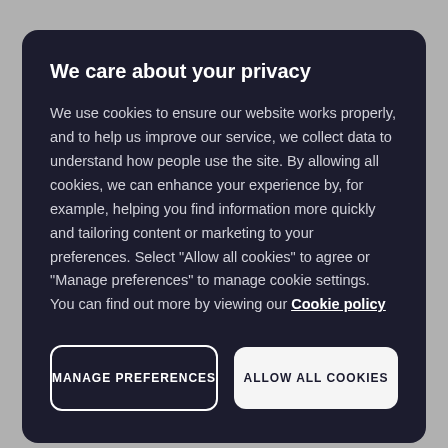We care about your privacy
We use cookies to ensure our website works properly, and to help us improve our service, we collect data to understand how people use the site. By allowing all cookies, we can enhance your experience by, for example, helping you find information more quickly and tailoring content or marketing to your preferences. Select “Allow all cookies” to agree or “Manage preferences” to manage cookie settings. You can find out more by viewing our Cookie policy
MANAGE PREFERENCES
ALLOW ALL COOKIES
Start investing today